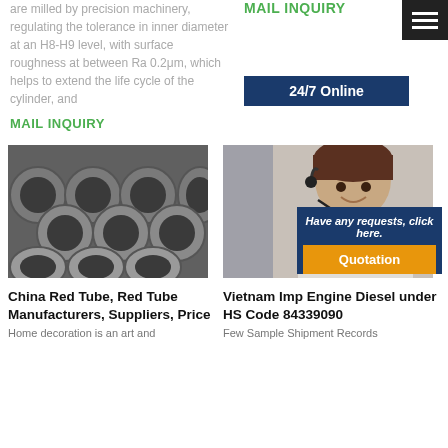are milled by precision machinery, regulating the tolerance in inner diameter at an H8-H9 level, with surface roughness at between Ra 0.2μm, which helps to extend the life cycle of the cylinder, and
MAIL INQUIRY
MAIL INQUIRY
[Figure (screenshot): Hamburger menu icon (three white lines on dark background)]
24/7 Online
[Figure (photo): Steel pipes stacked together, viewed from end showing circular openings]
[Figure (photo): Customer service woman with headset smiling]
Have any requests, click here.
Quotation
China Red Tube, Red Tube Manufacturers, Suppliers, Price
Vietnam Imp Engine Diesel under HS Code 84339090
Home decoration is an art and
Few Sample Shipment Records